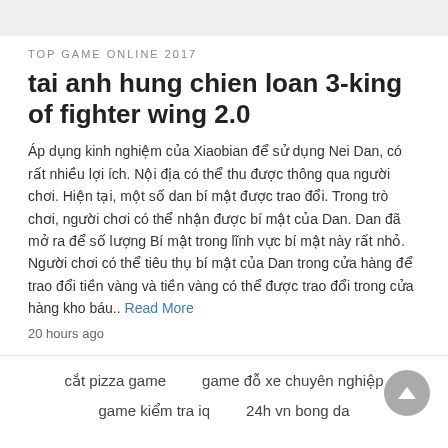TOP GAME ONLINE 2017
tai anh hung chien loan 3-king of fighter wing 2.0
Áp dụng kinh nghiệm của Xiaobian để sử dụng Nei Dan, có rất nhiều lợi ích. Nội địa có thể thu được thông qua người chơi. Hiện tại, một số dan bí mật được trao đổi. Trong trò chơi, người chơi có thể nhận được bí mật của Dan. Dan đã mở ra để số lượng Bí mật trong lĩnh vực bí mật này rất nhỏ. Người chơi có thể tiêu thụ bí mật của Dan trong cửa hàng để trao đổi tiền vàng và tiền vàng có thể được trao đổi trong cửa hàng kho báu.. Read More
20 hours ago
cắt pizza game   game đỗ xe chuyên nghiệp   game kiểm tra iq   24h vn bong da